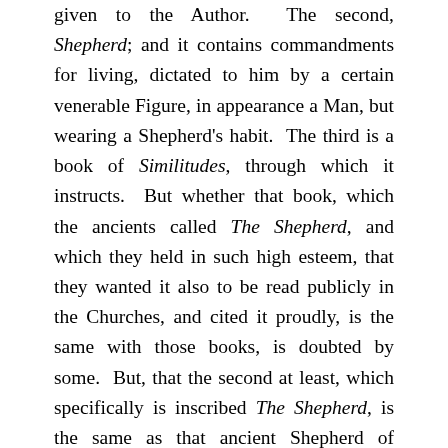given to the Author. The second, Shepherd; and it contains commandments for living, dictated to him by a certain venerable Figure, in appearance a Man, but wearing a Shepherd's habit. The third is a book of Similitudes, through which it instructs. But whether that book, which the ancients called The Shepherd, and which they held in such high esteem, that they wanted it also to be read publicly in the Churches, and cited it proudly, is the same with those books, is doubted by some. But, that the second at least, which specifically is inscribed The Shepherd, is the same as that ancient Shepherd of Hermas, the citations of the ancients, which in that second book today are found in almost the same words, demonstrate. But whatever the case may be